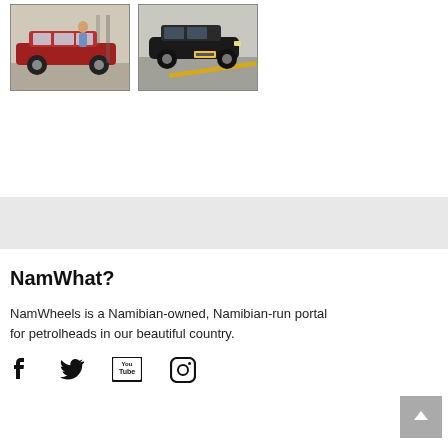[Figure (photo): Red station wagon car with a person standing beside it]
[Figure (photo): Black car parked on a road with a yellow line]
NamWhat?
NamWheels is a Namibian-owned, Namibian-run portal for petrolheads in our beautiful country.
[Figure (logo): Social media icons: Facebook, Twitter, YouTube, Instagram]